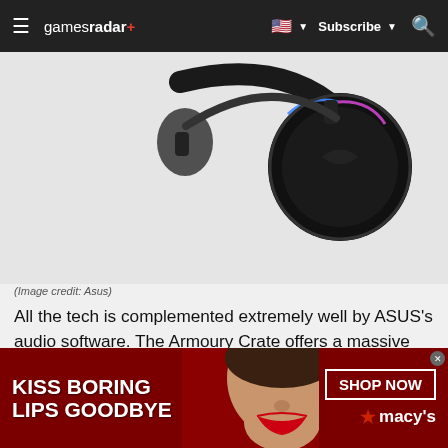gamesradar+ | Subscribe | Search
[Figure (photo): ASUS gaming headset, black with RGB lighting (blue and pink), partially visible, showing headband and right ear cup on grey background]
(Image credit: Asus)
All the tech is complemented extremely well by ASUS's audio software. The Armoury Crate offers a massive array of controls for fine-tuning almost anything about your sound. That means you'll have access to individual levels for both music and games, with extra attention paid to bass, detailing, and vocals
[Figure (photo): Macy's advertisement banner - red background with model showing red lips, text: KISS BORING LIPS GOODBYE, SHOP NOW, macys logo with star]